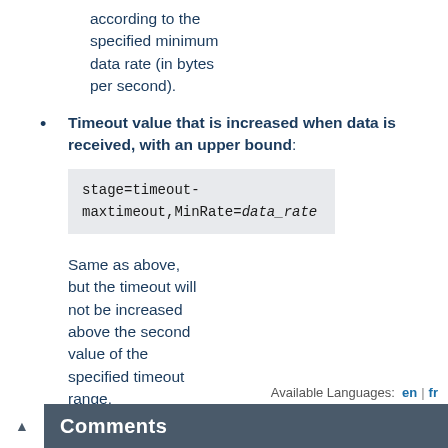according to the specified minimum data rate (in bytes per second).
Timeout value that is increased when data is received, with an upper bound:
stage=timeout-maxtimeout,MinRate=data_rate
Same as above, but the timeout will not be increased above the second value of the specified timeout range.
Available Languages:  en  |  fr
Comments